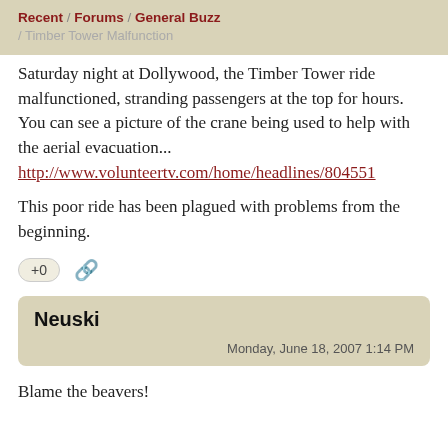Recent / Forums / General Buzz / Timber Tower Malfunction
Saturday night at Dollywood, the Timber Tower ride malfunctioned, stranding passengers at the top for hours. You can see a picture of the crane being used to help with the aerial evacuation... http://www.volunteertv.com/home/headlines/804551
This poor ride has been plagued with problems from the beginning.
+0  🔗
Neuski
Monday, June 18, 2007 1:14 PM
Blame the beavers!